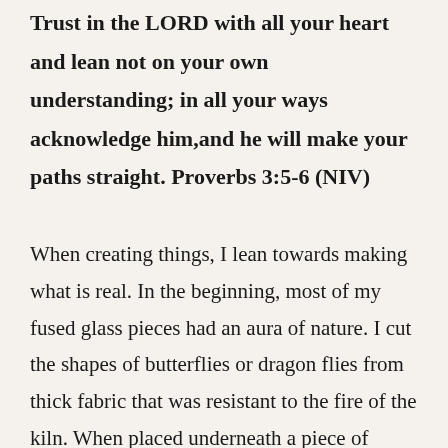Trust in the LORD with all your heart and lean not on your own understanding; in all your ways acknowledge him,and he will make your paths straight. Proverbs 3:5-6 (NIV)
When creating things, I lean towards making what is real. In the beginning, most of my fused glass pieces had an aura of nature. I cut the shapes of butterflies or dragon flies from thick fabric that was resistant to the fire of the kiln. When placed underneath a piece of glass, the